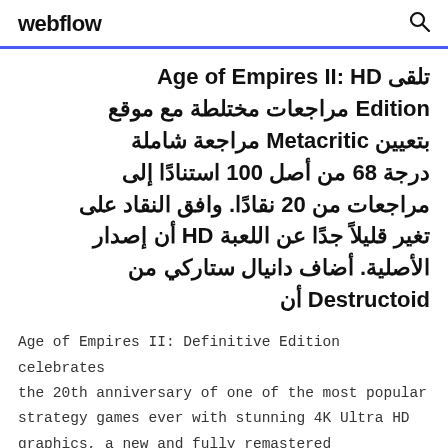webflow
تلقى Age of Empires II: HD Edition مراجعات مختلطة مع موقع Metacritic بتعيين مراجعة شاملة درجة 68 من أصل 100 استنادًا إلى مراجعات من 20 نقادًا. وافق النقاد على تغير قليلاً جدًا عن اللعبة HD أن إصدار الأصلية. أضاف دانيال ستاركي من Destructoid أن
Age of Empires II: Definitive Edition celebrates the 20th anniversary of one of the most popular strategy games ever with stunning 4K Ultra HD graphics, a new and fully remastered soundtrack, and brand-new content. "The Last